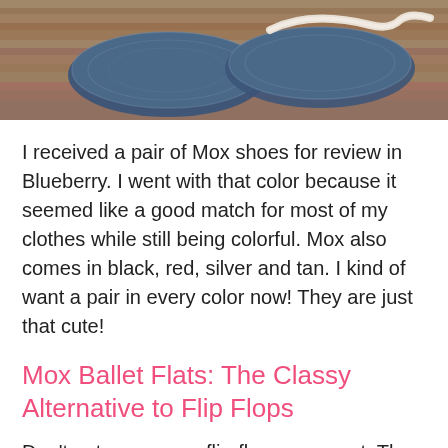[Figure (photo): Photo of blue crocheted/knitted Mox ballet flats (Blueberry color) laid on a wooden surface, viewed from above.]
I received a pair of Mox shoes for review in Blueberry. I went with that color because it seemed like a good match for most of my clothes while still being colorful. Mox also comes in black, red, silver and tan. I kind of want a pair in every color now! They are just that cute!
Mox Ballet Flats: The Classy Alternative to Flip Flops
Don't get me wrong, flip-flops are great. They definitely have their place. For me,